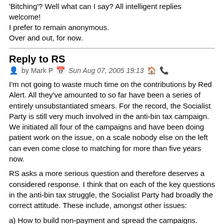'Bitching'? Well what can I say? All intelligent replies welcome! I prefer to remain anonymous. Over and out, for now.
Reply to RS
by Mark P   Sun Aug 07, 2005 19:13
I'm not going to waste much time on the contributions by Red Alert. All they've amounted to so far have been a series of entirely unsubstantiated smears. For the record, the Socialist Party is still very much involved in the anti-bin tax campaign. We initiated all four of the campaigns and have been doing patient work on the issue, on a scale nobody else on the left can even come close to matching for more than five years now.
RS asks a more serious question and therefore deserves a considered response. I think that on each of the key questions in the anti-bin tax struggle, the Socialist Party had broadly the correct attitude. These include, amongst other issues:
a) How to build non-payment and spread the campaigns.
b) The militant tactics needed to fight non-collection.
c) The attitude to take towards elections and council votes in general, as well as parties like Labour.
d) What approach to take towards the bin workers and towards the unions.
e) How much emphasis to put on court actions.